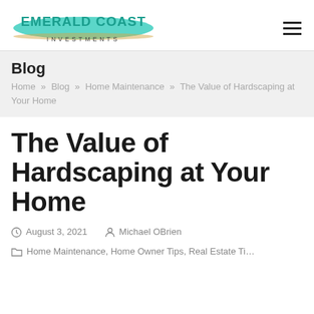[Figure (logo): Emerald Coast Investments logo with teal wave/brush stroke and text 'EMERALD COAST INVESTMENTS']
Blog
Home » Blog » Home Maintenance » The Value of Hardscaping at Your Home
The Value of Hardscaping at Your Home
August 3, 2021  Michael OBrien  Home Maintenance, Home Owner Tips, Real Estate Tips